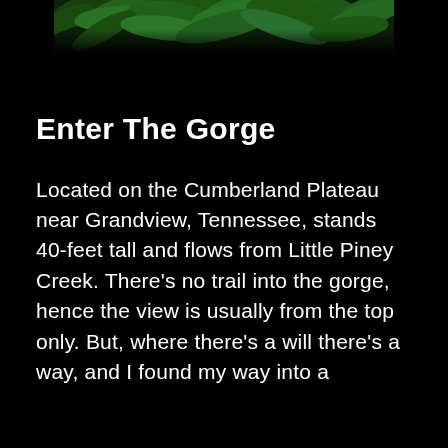[Figure (photo): Close-up photograph of green fern leaves against a dark background, shown as a horizontal strip at the top of the page.]
Enter The Gorge
Located on the Cumberland Plateau near Grandview, Tennessee, stands 40-feet tall and flows from Little Piney Creek. There's no trail into the gorge, hence the view is usually from the top only. But, where there's a will there's a way, and I found my way into a